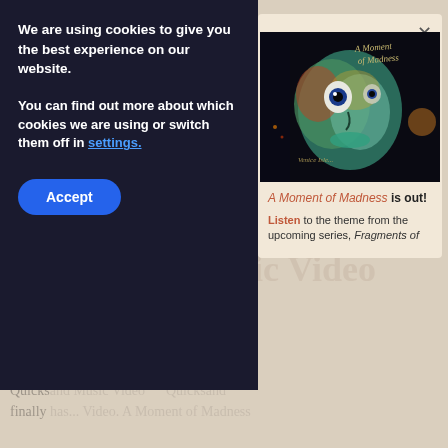[Figure (screenshot): Cookie consent banner overlay on a webpage. Dark panel on left with white text asking about cookies and an Accept button. A modal popup on the right shows surrealist artwork for 'A Moment of Madness' with text below. Behind the modal is a partially visible webpage with section headers and body text about Quicksand and Music Video.]
We are using cookies to give you the best experience on our website.
You can find out more about which cookies we are using or switch them off in settings.
Accept
[Figure (photo): Surrealist digital artwork showing a distorted face with exaggerated features against a dark background. Text reads 'A Moment of Madness' in stylized script at top right.]
A Moment of Madness is out!
Listen to the theme from the upcoming series, Fragments of
Quicksand Music Video
Animated music video for the most piano solo
Quicksand Music Video finally